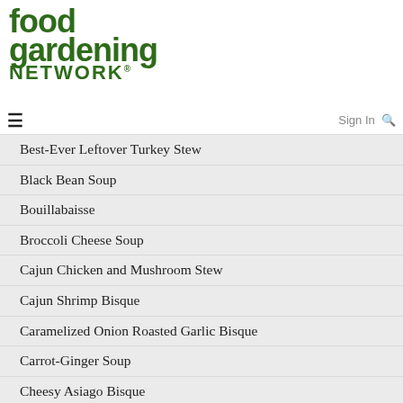[Figure (logo): Food Gardening Network logo with green bold text]
≡  Sign In 🔍
Best-Ever Leftover Turkey Stew
Black Bean Soup
Bouillabaisse
Broccoli Cheese Soup
Cajun Chicken and Mushroom Stew
Cajun Shrimp Bisque
Caramelized Onion Roasted Garlic Bisque
Carrot-Ginger Soup
Cheesy Asiago Bisque
Cheesy Italian Sausage Chowder
Chicken & Rice S…